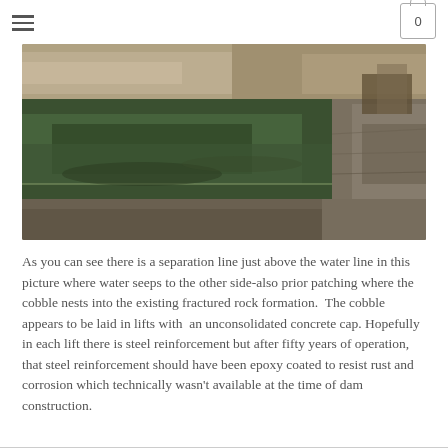Navigation menu and cart icon
[Figure (photo): Photograph of a dam or rock formation showing a separation line just above the water line. Green algae visible on wet rocks on the left side, dry fractured rock layers on the right, with some dry brush/plant material in the upper right corner.]
As you can see there is a separation line just above the water line in this picture where water seeps to the other side-also prior patching where the cobble nests into the existing fractured rock formation.  The cobble appears to be laid in lifts with  an unconsolidated concrete cap. Hopefully in each lift there is steel reinforcement but after fifty years of operation, that steel reinforcement should have been epoxy coated to resist rust and corrosion which technically wasn't available at the time of dam construction.